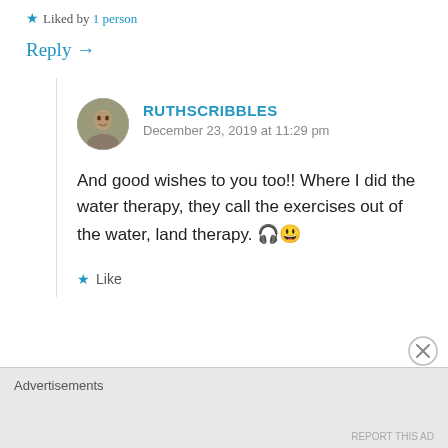★ Liked by 1 person
Reply →
RUTHSCRIBBLES
December 23, 2019 at 11:29 pm
And good wishes to you too!! Where I did the water therapy, they call the exercises out of the water, land therapy. 🎧😃
★ Like
Advertisements